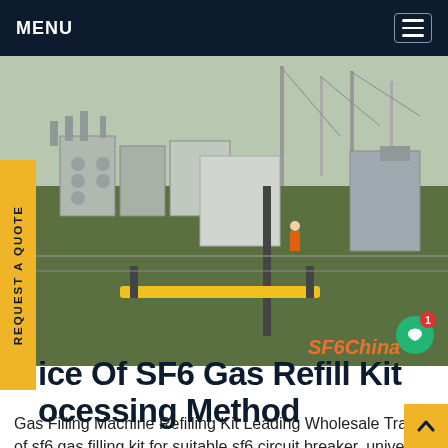MENU
[Figure (photo): Outdoor electrical substation with SF6 circuit breakers, transformers, and high-voltage equipment on a grassy site. A yellow safety barrier is visible in the foreground. Watermark reads 'SF6China'.]
ice Of SF6 Gas Refill Kit ocessing Method
Gas Filling Machine Refilling Kit Leading Wholesale Trader of sf6 gas filling kit for suitable sf6 circuit breaker, universal sf6 gas filling kit device, sf6 gas